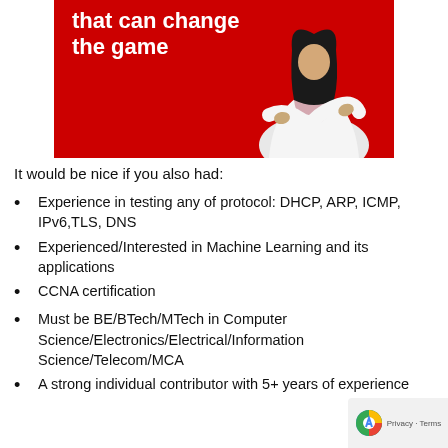[Figure (photo): Red background banner with white bold text 'that can change the game' and a woman in a white blazer with arms crossed standing on the right side]
It would be nice if you also had:
Experience in testing any of protocol: DHCP, ARP, ICMP, IPv6,TLS, DNS
Experienced/Interested in Machine Learning and its applications
CCNA certification
Must be BE/BTech/MTech in Computer Science/Electronics/Electrical/Information Science/Telecom/MCA
A strong individual contributor with 5+ years of experience